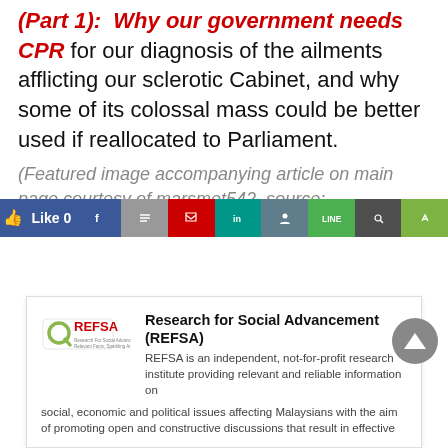(Part 1):  Why our government needs CPR for our diagnosis of the ailments afflicting our sclerotic Cabinet, and why some of its colossal mass could be better used if reallocated to Parliament.
(Featured image accompanying article on main page courtesy of marsmet542, source: http://bit.ly/XhWRID)
[Figure (logo): REFSA logo - Research for Social Advancement]
Research for Social Advancement (REFSA)
REFSA is an independent, not-for-profit research institute providing relevant and reliable information on social, economic and political issues affecting Malaysians with the aim of promoting open and constructive discussions that result in effective
Like 0 | social share buttons